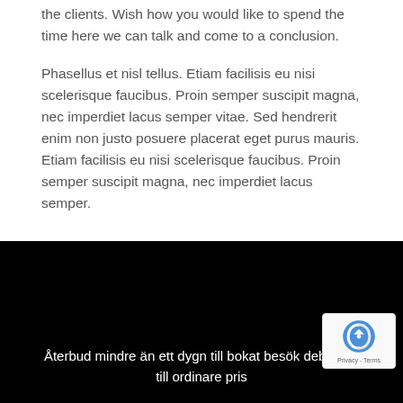We at KINM provide various services to the nature of the clients. Wish how you would like to spend the time here we can talk and come to a conclusion.
Phasellus et nisl tellus. Etiam facilisis eu nisi scelerisque faucibus. Proin semper suscipit magna, nec imperdiet lacus semper vitae. Sed hendrerit enim non justo posuere placerat eget purus mauris. Etiam facilisis eu nisi scelerisque faucibus. Proin semper suscipit magna, nec imperdiet lacus semper.
Återbud mindre än ett dygn till bokat besök debiteras till ordinare pris